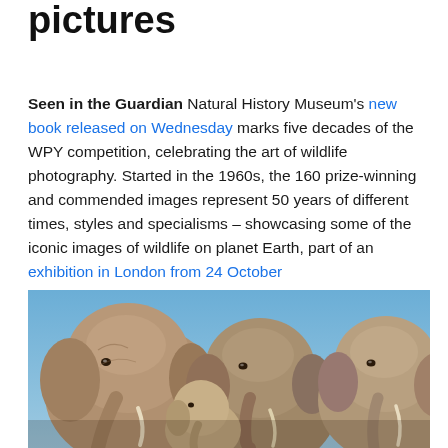pictures
Seen in the Guardian Natural History Museum's new book released on Wednesday marks five decades of the WPY competition, celebrating the art of wildlife photography. Started in the 1960s, the 160 prize-winning and commended images represent 50 years of different times, styles and specialisms – showcasing some of the iconic images of wildlife on planet Earth, part of an exhibition in London from 24 October
[Figure (photo): Photograph of a group of elephants (three visible) against a blue sky background, showing their heads and upper bodies with tusks visible.]